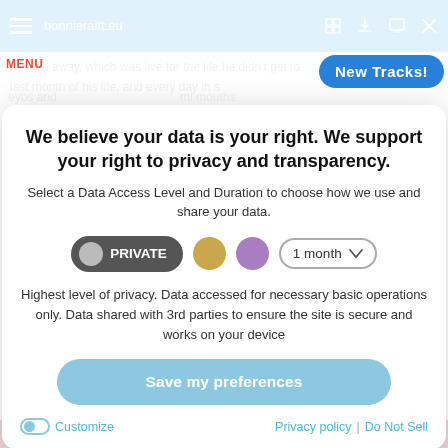bonnieraitt.eu
MENU
[Figure (screenshot): New Tracks! button in blue rounded rectangle]
We believe your data is your right. We support your right to privacy and transparency.
Select a Data Access Level and Duration to choose how we use and share your data.
[Figure (infographic): Privacy level selector with PRIVATE pill button (dark), gold circle, purple circle, and 1 month dropdown]
Highest level of privacy. Data accessed for necessary basic operations only. Data shared with 3rd parties to ensure the site is secure and works on your device
Save my preferences
Customize   Privacy policy  |  Do Not Sell